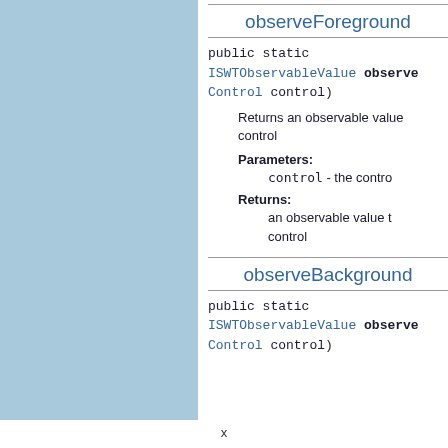observeForeground
public static ISWTObservableValue observeForeground(Control control)
Returns an observable value tracking the foreground color of the given control
Parameters:
control - the control to observe
Returns:
an observable value tracking the foreground color of the given control
observeBackground
public static ISWTObservableValue observeBackground(Control control)